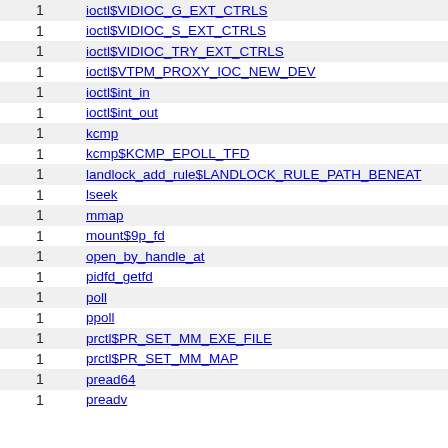|  |  |
| --- | --- |
| 1 | ioctl$VIDIOC_G_EXT_CTRLS |
| 1 | ioctl$VIDIOC_S_EXT_CTRLS |
| 1 | ioctl$VIDIOC_TRY_EXT_CTRLS |
| 1 | ioctl$VTPM_PROXY_IOC_NEW_DEV |
| 1 | ioctl$int_in |
| 1 | ioctl$int_out |
| 1 | kcmp |
| 1 | kcmp$KCMP_EPOLL_TFD |
| 1 | landlock_add_rule$LANDLOCK_RULE_PATH_BENEATH |
| 1 | lseek |
| 1 | mmap |
| 1 | mount$9p_fd |
| 1 | open_by_handle_at |
| 1 | pidfd_getfd |
| 1 | poll |
| 1 | ppoll |
| 1 | prctl$PR_SET_MM_EXE_FILE |
| 1 | prctl$PR_SET_MM_MAP |
| 1 | pread64 |
| 1 | preadv |